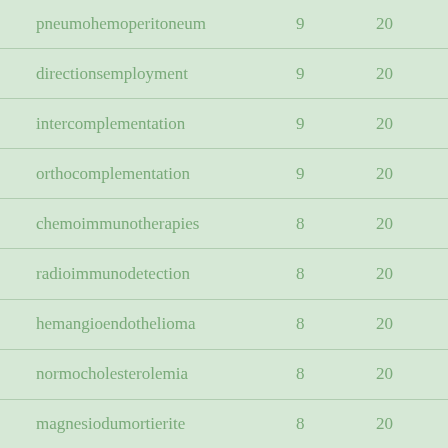| pneumohemoperitoneum | 9 | 20 |
| directionsemployment | 9 | 20 |
| intercomplementation | 9 | 20 |
| orthocomplementation | 9 | 20 |
| chemoimmunotherapies | 8 | 20 |
| radioimmunodetection | 8 | 20 |
| hemangioendothelioma | 8 | 20 |
| normocholesterolemia | 8 | 20 |
| magnesiodumortierite | 8 | 20 |